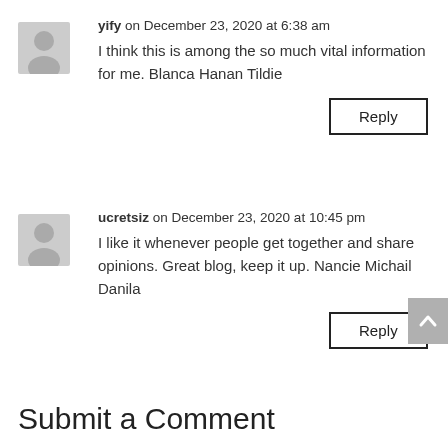yify on December 23, 2020 at 6:38 am
I think this is among the so much vital information for me. Blanca Hanan Tildie
Reply
ucretsiz on December 23, 2020 at 10:45 pm
I like it whenever people get together and share opinions. Great blog, keep it up. Nancie Michail Danila
Reply
Submit a Comment